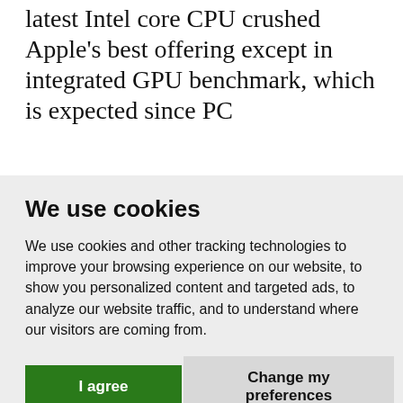latest Intel core CPU crushed Apple's best offering except in integrated GPU benchmark, which is expected since PC
We use cookies
We use cookies and other tracking technologies to improve your browsing experience on our website, to show you personalized content and targeted ads, to analyze our website traffic, and to understand where our visitors are coming from.